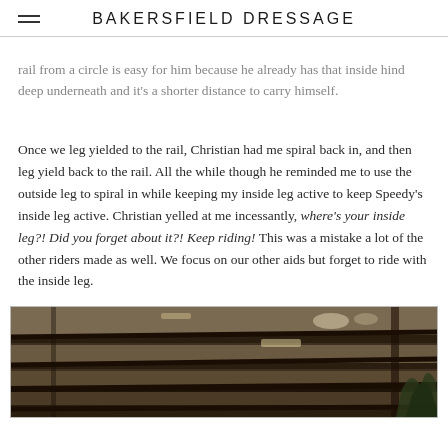BAKERSFIELD DRESSAGE
rail from a circle is easy for him because he already has that inside hind deep underneath and it's a shorter distance to carry himself.
Once we leg yielded to the rail, Christian had me spiral back in, and then leg yield back to the rail. All the while though he reminded me to use the outside leg to spiral in while keeping my inside leg active to keep Speedy's inside leg active. Christian yelled at me incessantly, where's your inside leg?! Did you forget about it?! Keep riding! This was a mistake a lot of the other riders made as well. We focus on our other aids but forget to ride with the inside leg.
[Figure (photo): Interior of a barn or stable showing roof rafters/beams from below, with some natural light and trees visible]